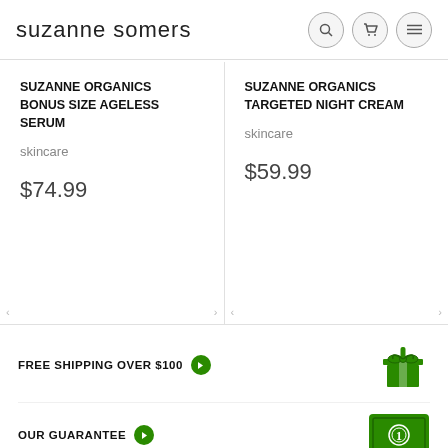suzanne somers
SUZANNE ORGANICS BONUS SIZE AGELESS SERUM
skincare
$74.99
SUZANNE ORGANICS TARGETED NIGHT CREAM
skincare
$59.99
FREE SHIPPING OVER $100
OUR GUARANTEE
MADE IN THE US